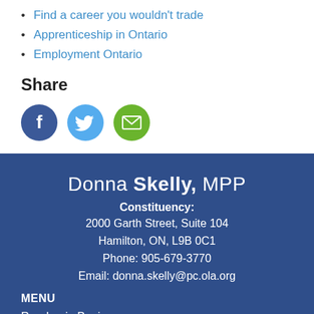Find a career you wouldn't trade
Apprenticeship in Ontario
Employment Ontario
Share
[Figure (other): Social media share icons: Facebook (blue circle with f), Twitter (light blue circle with bird), Email (green circle with envelope)]
Donna Skelly, MPP
Constituency: 2000 Garth Street, Suite 104 Hamilton, ON, L9B 0C1 Phone: 905-679-3770 Email: donna.skelly@pc.ola.org
MENU
Pandemic Business
Supports